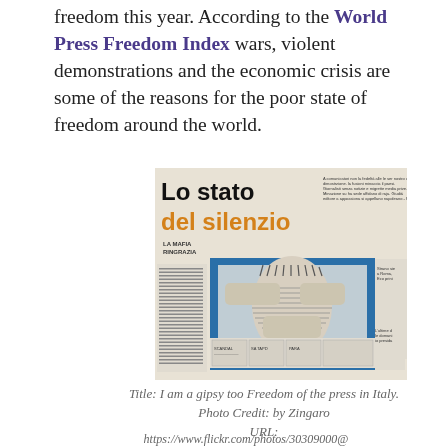freedom this year. According to the World Press Freedom Index wars, violent demonstrations and the economic crisis are some of the reasons for the poor state of freedom around the world.
[Figure (photo): Photograph of an Italian newspaper front page titled 'Lo stato del silenzio' (The state of silence) with an illustration of a person with hands covering their eyes and mouth, symbolizing censorship and press freedom.]
Title: I am a gipsy too Freedom of the press in Italy.
Photo Credit: by Zingaro
URL:
https://www.flickr.com/photos/30309000@...